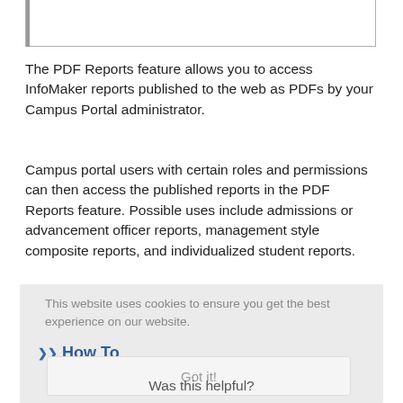[Figure (screenshot): Top portion of a screenshot/UI box with border, partially cut off at top]
The PDF Reports feature allows you to access InfoMaker reports published to the web as PDFs by your Campus Portal administrator.
Campus portal users with certain roles and permissions can then access the published reports in the PDF Reports feature. Possible uses include admissions or advancement officer reports, management style composite reports, and individualized student reports.
This website uses cookies to ensure you get the best experience on our website.
How To
Got it!
Was this helpful?